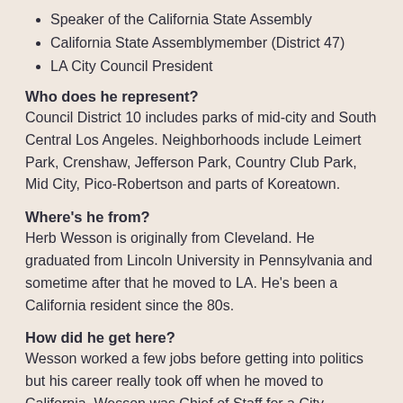Speaker of the California State Assembly
California State Assemblymember (District 47)
LA City Council President
Who does he represent?
Council District 10 includes parks of mid-city and South Central Los Angeles. Neighborhoods include Leimert Park, Crenshaw, Jefferson Park, Country Club Park, Mid City, Pico-Robertson and parts of Koreatown.
Where's he from?
Herb Wesson is originally from Cleveland. He graduated from Lincoln University in Pennsylvania and sometime after that he moved to LA. He's been a California resident since the 80s.
How did he get here?
Wesson worked a few jobs before getting into politics but his career really took off when he moved to California. Wesson was Chief of Staff for a City Councilmember (Nate Holden) and a County Supervisor